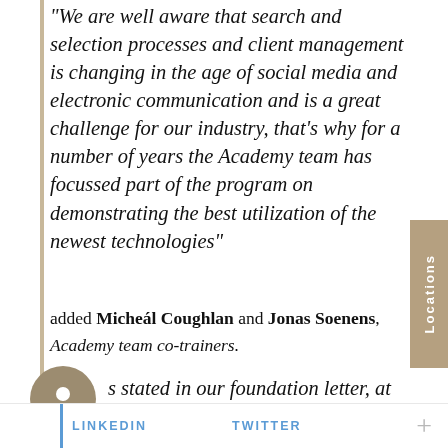“We are well aware that search and selection processes and client management is changing in the age of social media and electronic communication and is a great challenge for our industry, that’s why for a number of years the Academy team has focussed part of the program on demonstrating the best utilization of the newest technologies”
added Micheál Coughlan and Jonas Soenens, Academy team co-trainers.
… stated in our foundation letter, at
LINKEDIN   TWITTER   +